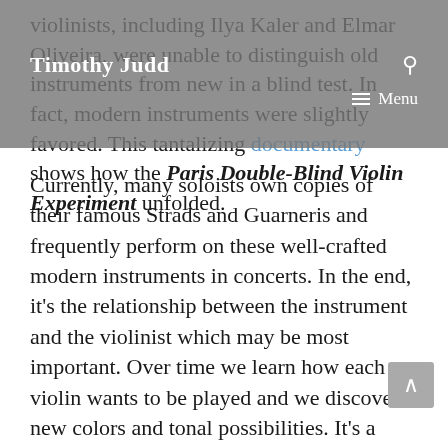Timothy Judd
violinists, including Ilya Kaler and Elmar Oliveira, were unable to distinguish old instruments from new in a blind test. In fact, modern instruments were slightly favored. This tantalizing documentary shows how the Paris Double-Blind Violin Experiment unfolded.
Currently, many soloists own copies of their famous Strads and Guarneris and frequently perform on these well-crafted modern instruments in concerts. In the end, it's the relationship between the instrument and the violinist which may be most important. Over time we learn how each violin wants to be played and we discover new colors and tonal possibilities. It's a relationship of give and take. If we put the right energy into the violin, it rewards us. Nothing can diminish the technological